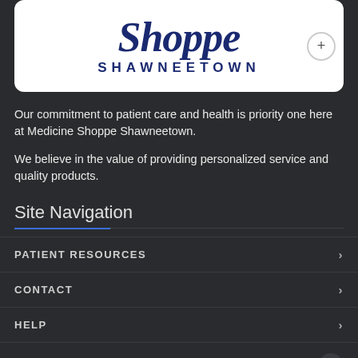[Figure (logo): Medicine Shoppe Shawneetown pharmacy logo — cursive 'Shoppe' text in dark navy blue above 'SHAWNEETOWN' in spaced capital letters, on white rounded rectangle background]
Our commitment to patient care and health is priority one here at Medicine Shoppe Shawneetown.
We believe in the value of providing personalized service and quality products.
Site Navigation
PATIENT RESOURCES
CONTACT
HELP
LOCATION / HOURS